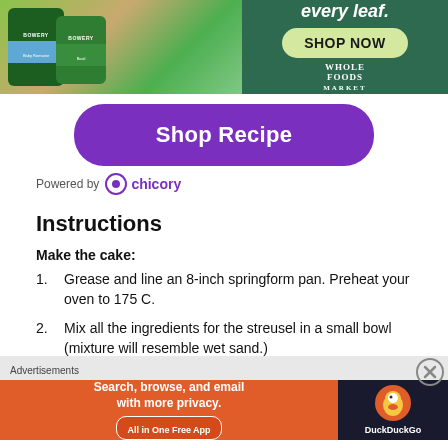[Figure (photo): Whole Foods Market advertisement showing Bowery baby romaine lettuce packages with green salad, tagline 'every leaf.', SHOP NOW button]
[Figure (other): Shop Recipe button in purple/violet rounded rectangle]
Powered by chicory
Instructions
Make the cake:
Grease and line an 8-inch springform pan. Preheat your oven to 175 C.
Mix all the ingredients for the streusel in a small bowl (mixture will resemble wet sand.)
Advertisements
[Figure (other): DuckDuckGo advertisement: Search, browse, and email with more privacy. All in One Free App.]